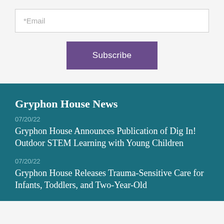*Email
Subscribe
Gryphon House News
07/20/22
Gryphon House Announces Publication of Dig In! Outdoor STEM Learning with Young Children
07/20/22
Gryphon House Releases Trauma-Sensitive Care for Infants, Toddlers, and Two-Year-Old Children